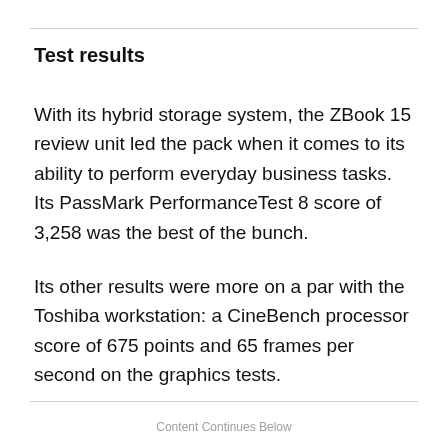Test results
With its hybrid storage system, the ZBook 15 review unit led the pack when it comes to its ability to perform everyday business tasks. Its PassMark PerformanceTest 8 score of 3,258 was the best of the bunch.
Its other results were more on a par with the Toshiba workstation: a CineBench processor score of 675 points and 65 frames per second on the graphics tests.
Content Continues Below